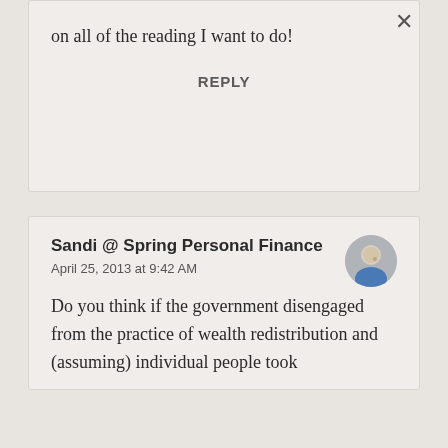on all of the reading I want to do!
REPLY
Sandi @ Spring Personal Finance
April 25, 2013 at 9:42 AM
Do you think if the government disengaged from the practice of wealth redistribution and (assuming) individual people took